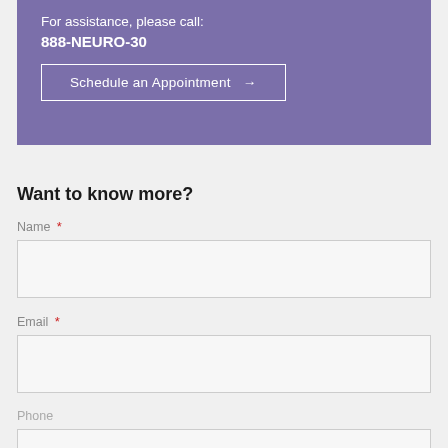For assistance, please call:
888-NEURO-30
Schedule an Appointment →
Want to know more?
Name *
Email *
Phone